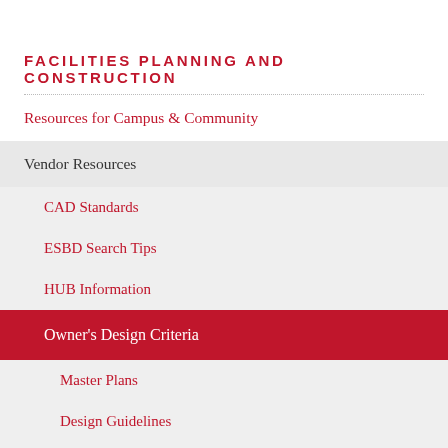FACILITIES PLANNING AND CONSTRUCTION
Resources for Campus & Community
Vendor Resources
CAD Standards
ESBD Search Tips
HUB Information
Owner's Design Criteria
Master Plans
Design Guidelines
Master Specifications